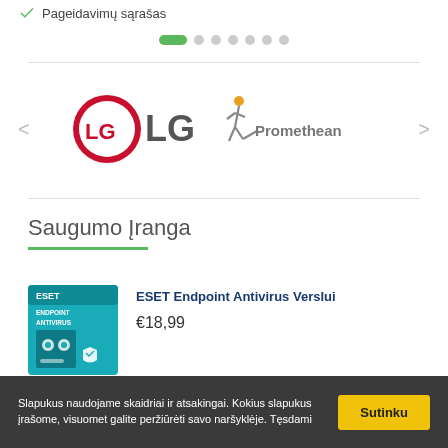Pageidavimų sąrašas
[Figure (infographic): Pagination indicator: one green active pill followed by 6 grey dots]
[Figure (logo): LG brand logo (red circle with LG text) and Promethean brand logo (grey figure with ball and text), with left/right navigation arrows]
Saugumo Įranga
[Figure (photo): ESET Endpoint Antivirus product box image]
ESET Endpoint Antivirus Verslui
€18,99
Slapukus naudojame skaidriai ir atsakingai. Kokius slapukus įrašome, visuomet galite peržiūrėti savo naršyklėje. Tęsdami